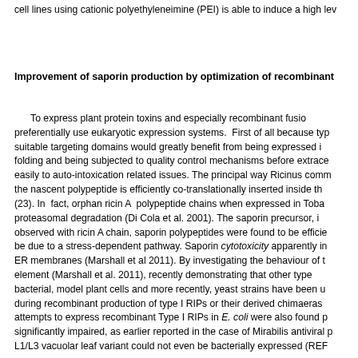cell lines using cationic polyethyleneimine (PEI) is able to induce a high lev
Improvement of saporin production by optimization of recombinant
To express plant protein toxins and especially recombinant fusion proteins, one should preferentially use eukaryotic expression systems. First of all because type II RIPs with suitable targeting domains would greatly benefit from being expressed in a system allowing folding and being subjected to quality control mechanisms before extracellular destination, leading easily to auto-intoxication related issues. The principal way Ricinus communis avoids this is that the nascent polypeptide is efficiently co-translationally inserted inside the ER lumen via a signal (23). In fact, orphan ricin A polypeptide chains when expressed in Tobacco cells under go proteasomal degradation (Di Cola et al. 2001). The saporin precursor, in spite of what was observed with ricin A chain, saporin polypeptides were found to be efficiently degraded, shown to be due to a stress-dependent pathway. Saporin cytotoxicity apparently interferes with the plant ER membranes (Marshall et al 2011). By investigating the behaviour of the saporin KDEL retention element (Marshall et al. 2011), recently demonstrating that other types of expression systems, bacterial, model plant cells and more recently, yeast strains have been used with relative success during recombinant production of type I RIPs or their derived chimaeras. However, previous attempts to express recombinant Type I RIPs in E. coli were also found partially unsuccessful or significantly impaired, as earlier reported in the case of Mirabilis antiviral protein (MAP), whose L1/L3 vacuolar leaf variant could not even be bacterially expressed (REF).